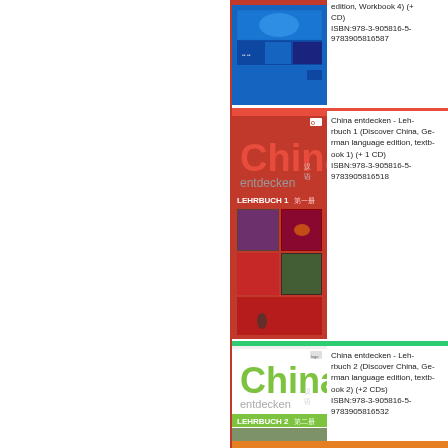[Figure (photo): Blue book cover for Discover China workbook 4 with architectural/travel imagery]
edition, Workbook 4) (+ 1 CD)
ISBN:978-3-905816-5-
9783905816587
[Figure (photo): Red book cover: China entdecken - Lehrbuch 1 with Chinese landscape photos]
China entdecken - Lehrbuch 1 (Discover China, German language edition, textbook 1) (+ 1 CD)
ISBN:978-3-905816-5-
9783905816518
[Figure (photo): Green book cover: China entdecken - Lehrbuch 2 with Chinese landscape photos]
China entdecken - Lehrbuch 2 (Discover China, German language edition, textbook 2) (+2 CDs)
ISBN:978-3-905816-5-
9783905816532